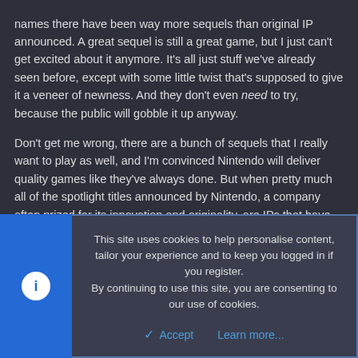names there have been way more sequels than original IP announced. A great sequel is still a great game, but I just can't get excited about it anymore. It's all just stuff we've already seen before, except with some little twist that's supposed to give it a veneer of newness. And they don't even need to try, because the public will gobble it up anyway.
Don't get me wrong, there are a bunch of sequels that I really want to play as well, and I'm convinced Nintendo will deliver quality games like they've always done. But when pretty much all of the spotlight titles announced by Nintendo, a company often prized for its innovation and originality, are IPs that have existed for decades, I can't help but lose faith a little bit.
Brotherofwill
New member
This site uses cookies to help personalise content, tailor your experience and to keep you logged in if you register.
By continuing to use this site, you are consenting to our use of cookies.
Accept   Learn more...